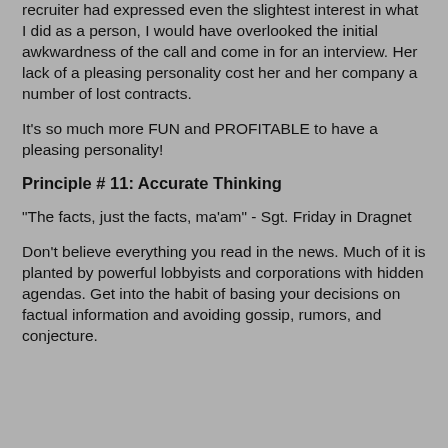recruiter had expressed even the slightest interest in what I did as a person, I would have overlooked the initial awkwardness of the call and come in for an interview. Her lack of a pleasing personality cost her and her company a number of lost contracts.
It's so much more FUN and PROFITABLE to have a pleasing personality!
Principle # 11: Accurate Thinking
"The facts, just the facts, ma'am" - Sgt. Friday in Dragnet
Don't believe everything you read in the news. Much of it is planted by powerful lobbyists and corporations with hidden agendas. Get into the habit of basing your decisions on factual information and avoiding gossip, rumors, and conjecture.